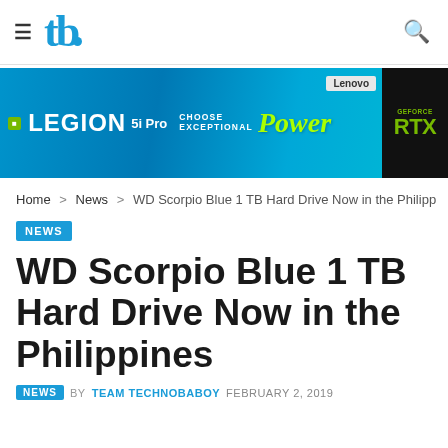tb (Technobaboy logo) | hamburger menu | search icon
[Figure (infographic): Lenovo Legion 5i Pro ad banner with NVIDIA and GeForce RTX branding. Blue background with 'LEGION 5i Pro - CHOOSE EXCEPTIONAL Power' text and laptop image.]
Home > News > WD Scorpio Blue 1 TB Hard Drive Now in the Philipp
NEWS
WD Scorpio Blue 1 TB Hard Drive Now in the Philippines
NEWS  BY TEAM TECHNOBABOY  FEBRUARY 2, 2019